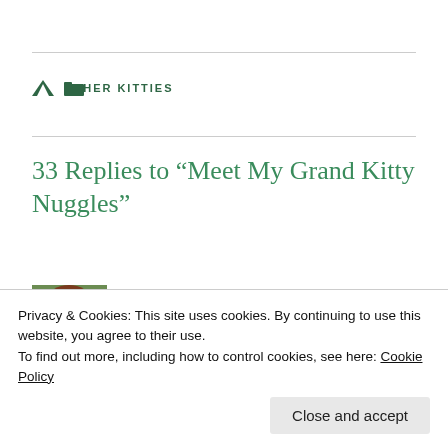OTHER KITTIES
33 Replies to “Meet My Grand Kitty Nuggles”
[Figure (photo): Avatar photo of a woman with red hair smiling, used as a comment profile picture for Hairballs and Hissyfits]
Hairballs and Hissyfits
OCTOBER 25, 2017 AT 11:23 AM
Privacy & Cookies: This site uses cookies. By continuing to use this website, you agree to their use.
To find out more, including how to control cookies, see here: Cookie Policy